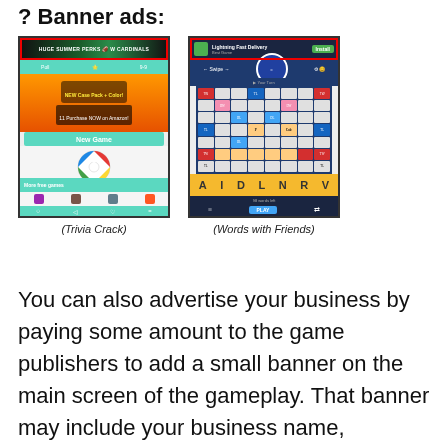? Banner ads:
[Figure (screenshot): Screenshot of Trivia Crack mobile game with a red-bordered banner ad at the top of the screen]
(Trivia Crack)
[Figure (screenshot): Screenshot of Words with Friends mobile game with a red-bordered banner ad at the top of the screen]
(Words with Friends)
You can also advertise your business by paying some amount to the game publishers to add a small banner on the main screen of the gameplay. That banner may include your business name,